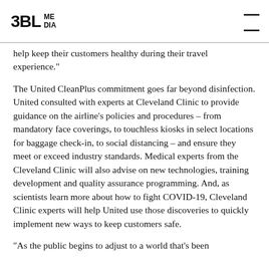3BL MEDIA
help keep their customers healthy during their travel experience."
The United CleanPlus commitment goes far beyond disinfection. United consulted with experts at Cleveland Clinic to provide guidance on the airline's policies and procedures – from mandatory face coverings, to touchless kiosks in select locations for baggage check-in, to social distancing – and ensure they meet or exceed industry standards. Medical experts from the Cleveland Clinic will also advise on new technologies, training development and quality assurance programming. And, as scientists learn more about how to fight COVID-19, Cleveland Clinic experts will help United use those discoveries to quickly implement new ways to keep customers safe.
"As the public begins to adjust to a world that's been